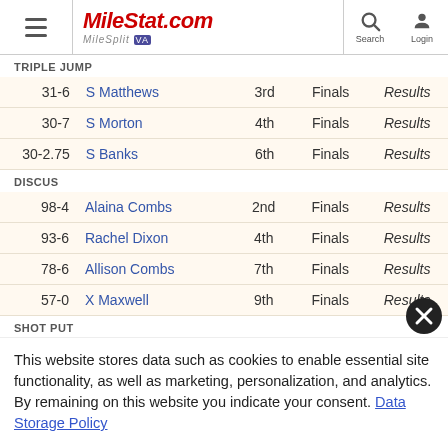MileStat.com MileSplit VA
TRIPLE JUMP
| Mark | Name | Place | Round |  |
| --- | --- | --- | --- | --- |
| 31-6 | S Matthews | 3rd | Finals | Results |
| 30-7 | S Morton | 4th | Finals | Results |
| 30-2.75 | S Banks | 6th | Finals | Results |
DISCUS
| Mark | Name | Place | Round |  |
| --- | --- | --- | --- | --- |
| 98-4 | Alaina Combs | 2nd | Finals | Results |
| 93-6 | Rachel Dixon | 4th | Finals | Results |
| 78-6 | Allison Combs | 7th | Finals | Results |
| 57-0 | X Maxwell | 9th | Finals | Results |
SHOT PUT
| Mark | Name | Place | Round |  |
| --- | --- | --- | --- | --- |
| 31-7 | Alaina Combs | 6th | Finals | Results |
This website stores data such as cookies to enable essential site functionality, as well as marketing, personalization, and analytics. By remaining on this website you indicate your consent. Data Storage Policy